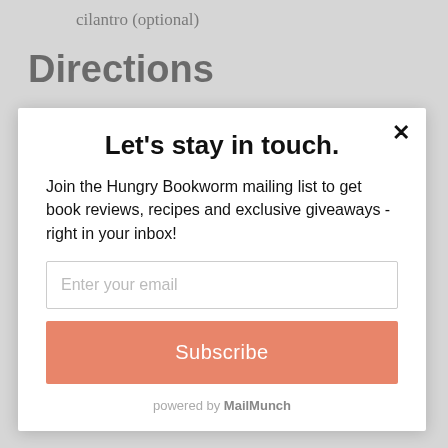cilantro (optional)
Directions
1. Heat oil and pancetta in a medium pot
Let's stay in touch.
Join the Hungry Bookworm mailing list to get book reviews, recipes and exclusive giveaways - right in your inbox!
Enter your email
Subscribe
powered by MailMunch